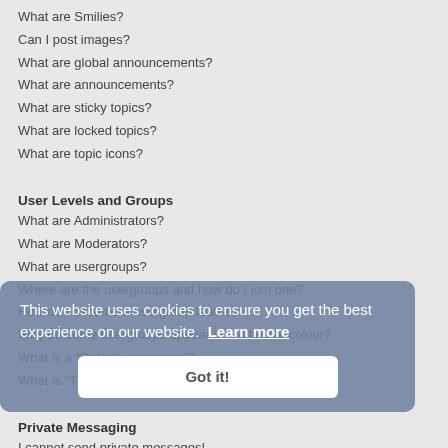What are Smilies?
Can I post images?
What are global announcements?
What are announcements?
What are sticky topics?
What are locked topics?
What are topic icons?
User Levels and Groups
What are Administrators?
What are Moderators?
What are usergroups?
Where are the usergroups and how do I join one?
How do I become a usergroup leader?
Why do some usergroups appear in a different colour?
What is a “Default usergroup”?
What is “The team” link?
Private Messaging
I cannot send private messages!
I keep getting unwanted private messages!
I have received a spamming or abusive email from someone on this board!
Friends and Foes
What are my Friends and Foes lists?
This website uses cookies to ensure you get the best experience on our website. Learn more
Got it!